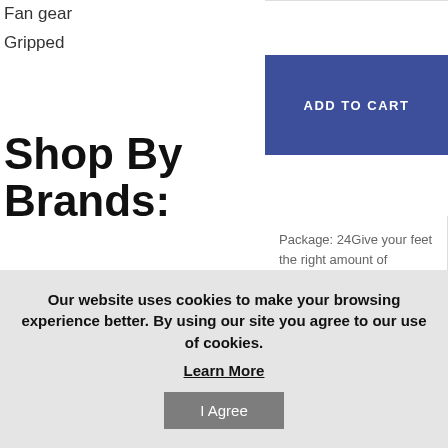Fan gear
Gripped
[Figure (illustration): Colorful ankle sock with yellow and teal/blue striped design, shown at an angle against a white background.]
ADD TO CART
Shop By Brands:
EARTH THERAPEU
Panda
Superstore
Black Temptation
Blancho
Package: 24Give your feet the right amount of cushioning and support with Campton and Co Girl's Ankle Socks. The ankle socks are perfect for children with shoe-size of 9-11. The soft pair is 97% polyester and 3% spandex and comes in assorted color. The striped socks come packaged in a hanging header card.
Our website uses cookies to make your browsing experience better. By using our site you agree to our use of cookies.
Learn More
I Agree